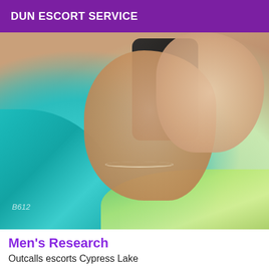DUN ESCORT SERVICE
[Figure (photo): Close-up photo of a person's hands and body wearing teal fabric and a silver anklet bracelet, holding a dark phone, with floral fabric visible at the bottom.]
Men's Research
Outcalls escorts Cypress Lake